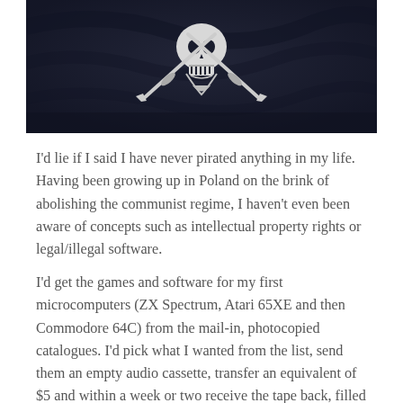[Figure (photo): A dark navy/black pirate flag (Jolly Roger) showing a skull and crossbones with crossed swords, fabric with slight folds visible, photographed close-up.]
I'd lie if I said I have never pirated anything in my life. Having been growing up in Poland on the brink of abolishing the communist regime, I haven't even been aware of concepts such as intellectual property rights or legal/illegal software.
I'd get the games and software for my first microcomputers (ZX Spectrum, Atari 65XE and then Commodore 64C) from the mail-in, photocopied catalogues. I'd pick what I wanted from the list, send them an empty audio cassette, transfer an equivalent of $5 and within a week or two receive the tape back, filled